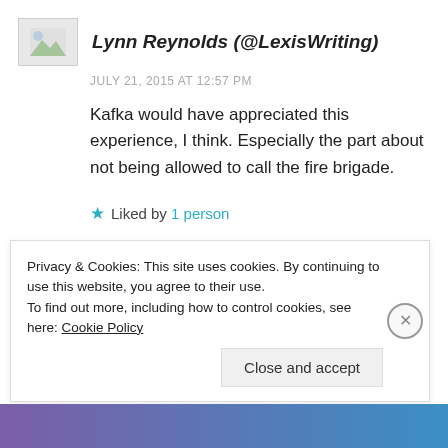Lynn Reynolds (@LexisWriting)
JULY 21, 2015 AT 12:57 PM
Kafka would have appreciated this experience, I think. Especially the part about not being allowed to call the fire brigade.
★ Liked by 1 person
REPLY
Privacy & Cookies: This site uses cookies. By continuing to use this website, you agree to their use. To find out more, including how to control cookies, see here: Cookie Policy
Close and accept